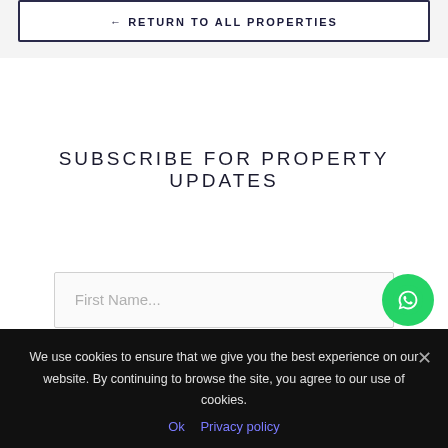← RETURN TO ALL PROPERTIES
SUBSCRIBE FOR PROPERTY UPDATES
First Name...
We use cookies to ensure that we give you the best experience on our website. By continuing to browse the site, you agree to our use of cookies.
Ok   Privacy policy